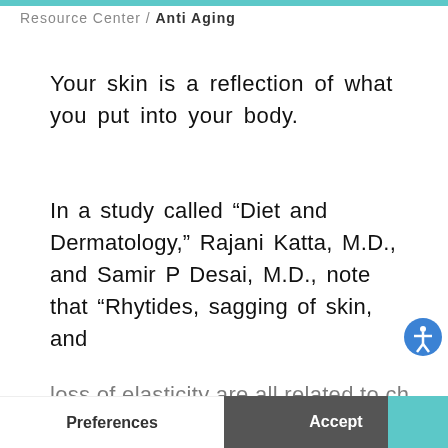Resource Center / Anti Aging
Your skin is a reflection of what you put into your body.
In a study called “Diet and Dermatology,” Rajani Katta, M.D., and Samir P Desai, M.D., note that “Rhytides, sagging of skin, and loss of elasticity are all related to changes…
This website uses cookies to ensure you get the best experience.
Preferences
Accept